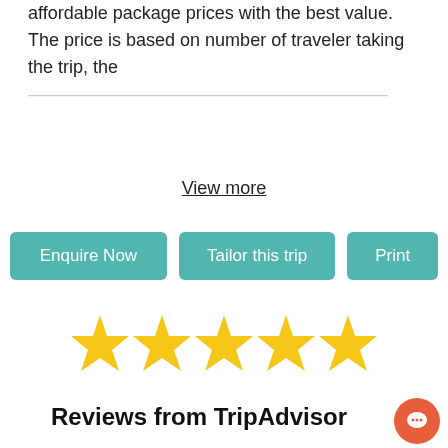affordable package prices with the best value. The price is based on number of traveler taking the trip, the
View more
Enquire Now | Tailor this trip | Print
[Figure (illustration): Five gold star rating icons in a row]
Reviews from TripAdvisor